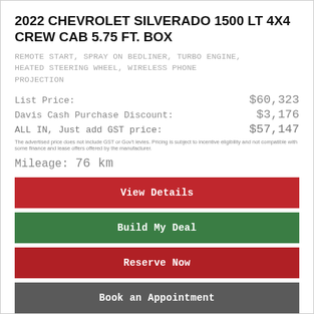2022 CHEVROLET SILVERADO 1500 LT 4X4 CREW CAB 5.75 FT. BOX
REMOTE START, SPRAY ON BEDLINER, TURBO ENGINE, HEATED STEERING WHEEL, WIRELESS PHONE PROJECTION
| Label | Value |
| --- | --- |
| List Price: | $60,323 |
| Davis Cash Purchase Discount: | $3,176 |
| ALL IN, Just add GST price: | $57,147 |
The advertised price does not include GST or Gov't levies. Pricing is subject to incentive eligibility and not compatible with some finance and lease offers offered by the manufacturer.
Mileage: 76 km
View Details
Build My Deal
Reserve Now
Book an Appointment